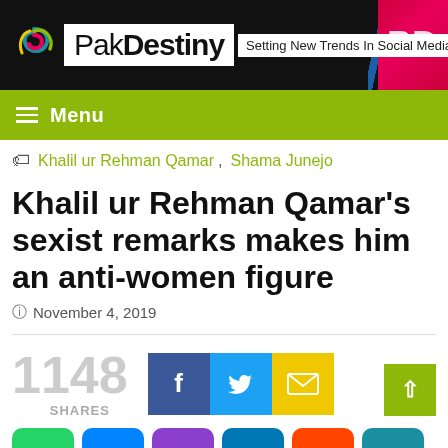[Figure (logo): PakDestiny website header with logo, tagline 'Setting New Trends In Social Media', and red accent on right]
Menu
Khalil ur Rehman Qamar, Shama Junejo
Khalil ur Rehman Qamar's sexist remarks makes him an anti-women figure
November 4, 2019
1148 SHARES
[Figure (infographic): Social share buttons: Facebook, Twitter, Email, WhatsApp, Messenger, Phone, LinkedIn, Reddit, Share]